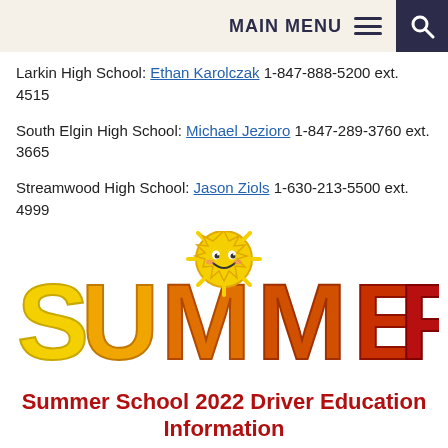MAIN MENU
Larkin High School: Ethan Karolczak 1-847-888-5200 ext. 4515
South Elgin High School: Michael Jezioro 1-847-289-3760 ext. 3665
Streamwood High School: Jason Ziols 1-630-213-5500 ext. 4999
[Figure (illustration): Colorful SUMMER logo with animated sun character sitting on the letter M, letters in yellow, orange, and red gradient.]
Summer School 2022 Driver Education Information